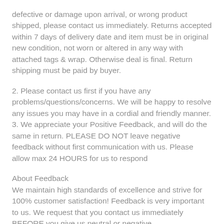defective or damage upon arrival, or wrong product shipped, please contact us immediately. Returns accepted within 7 days of delivery date and item must be in original new condition, not worn or altered in any way with attached tags & wrap. Otherwise deal is final. Return shipping must be paid by buyer.
2. Please contact us first if you have any problems/questions/concerns. We will be happy to resolve any issues you may have in a cordial and friendly manner.
3. We appreciate your Positive Feedback, and will do the same in return. PLEASE DO NOT leave negative feedback without first communication with us. Please allow max 24 HOURS for us to respond
About Feedback
We maintain high standards of excellence and strive for 100% customer satisfaction! Feedback is very important to us. We request that you contact us immediately BEFORE you give us neutral or negative